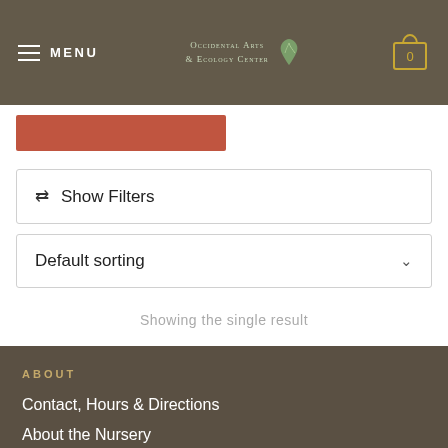MENU | Occidental Arts & Ecology Center | 0
[Figure (screenshot): Red button strip partially visible at top of content area]
⇄  Show Filters
Default sorting ∨
Showing the single result
ABOUT
Contact, Hours & Directions
About the Nursery
About OAEC
FOLLOW